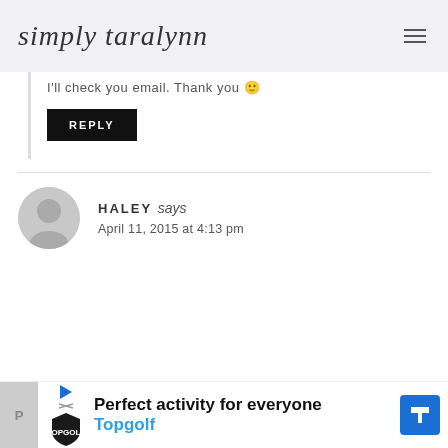simply taralynn
I'll check you email. Thank you 🙂
REPLY
HALEY says
April 11, 2015 at 4:13 pm
I like that gray color you used. Where do you buy your paints at?
[Figure (other): Topgolf advertisement banner: Perfect activity for everyone - Topgolf]